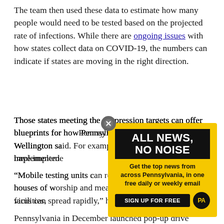The team then used these data to estimate how many people would need to be tested based on the projected rate of infections. While there are ongoing issues with how states collect data on COVID-19, the numbers can indicate if states are moving in the right direction.
Those states meeting the suppression targets can offer blueprints for how Pennsylvania could improve, Wellington said. For example, officials have implemented...
[Figure (other): Newsletter advertisement overlay with yellow background. Headline: 'ALL NEWS, NO NOISE' in white text on black background. Body text: 'Get the top news from across Pennsylvania, in one free daily or weekly email'. Button: 'SIGN UP FOR FREE' with PA logo.]
“Mobile testing units can reach people in settings like houses of worship and meatpacking facilities, where the virus can spread rapidly,” he said.
Pennsylvania in December launched pop-up drive